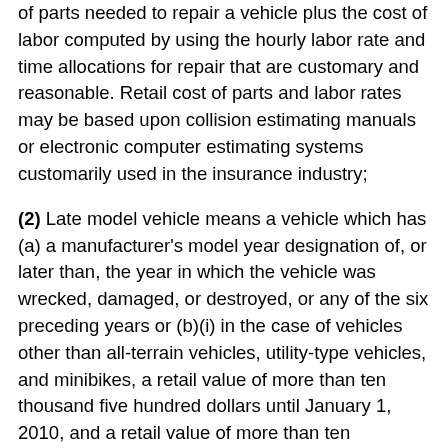of parts needed to repair a vehicle plus the cost of labor computed by using the hourly labor rate and time allocations for repair that are customary and reasonable. Retail cost of parts and labor rates may be based upon collision estimating manuals or electronic computer estimating systems customarily used in the insurance industry;
(2) Late model vehicle means a vehicle which has (a) a manufacturer's model year designation of, or later than, the year in which the vehicle was wrecked, damaged, or destroyed, or any of the six preceding years or (b)(i) in the case of vehicles other than all-terrain vehicles, utility-type vehicles, and minibikes, a retail value of more than ten thousand five hundred dollars until January 1, 2010, and a retail value of more than ten thousand five hundred dollars increased by five hundred dollars every five years thereafter or (ii) in the case of all-terrain vehicles, utility-type vehicles, or minibikes, a retail value of more than one thousand seven hundred fifty dollars until January 1, 2010, and a retail value of more than one thousand seven hundred fifty dollars